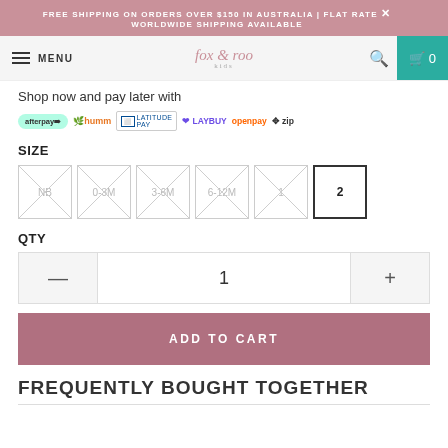FREE SHIPPING ON ORDERS OVER $150 IN AUSTRALIA | FLAT RATE WORLDWIDE SHIPPING AVAILABLE
[Figure (screenshot): Navigation bar with hamburger menu, MENU label, fox & roo kids logo, search icon, and cart icon showing 0]
Shop now and pay later with
[Figure (logo): Payment provider logos: afterpay, humm, LATITUDE PAY, LAYBUY, openpay, zip]
SIZE
[Figure (other): Size selector buttons: NB (crossed out), 0-3M (crossed out), 3-6M (crossed out), 6-12M (crossed out), 1 (crossed out), 2 (selected)]
QTY
[Figure (other): Quantity control with minus button, value 1, and plus button]
ADD TO CART
FREQUENTLY BOUGHT TOGETHER